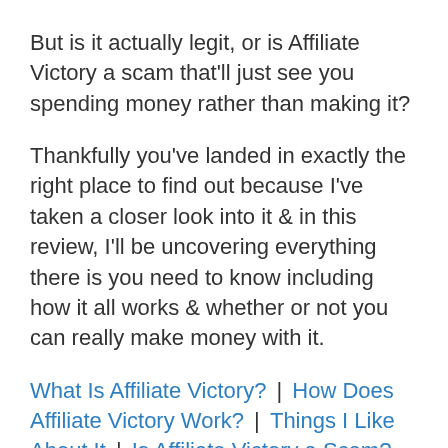But is it actually legit, or is Affiliate Victory a scam that'll just see you spending money rather than making it?
Thankfully you've landed in exactly the right place to find out because I've taken a closer look into it & in this review, I'll be uncovering everything there is you need to know including how it all works & whether or not you can really make money with it.
What Is Affiliate Victory? | How Does Affiliate Victory Work? | Things I Like About It | Is Affiliate Victory a Scam? | A Better Alternative